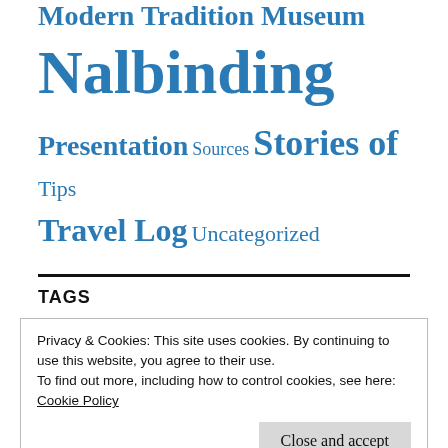Modern Tradition Museum
Nalbinding
Presentation  Sources  Stories of  Tips  Travel Log  Uncategorized
TAGS
Privacy & Cookies: This site uses cookies. By continuing to use this website, you agree to their use.
To find out more, including how to control cookies, see here:
Cookie Policy
Close and accept